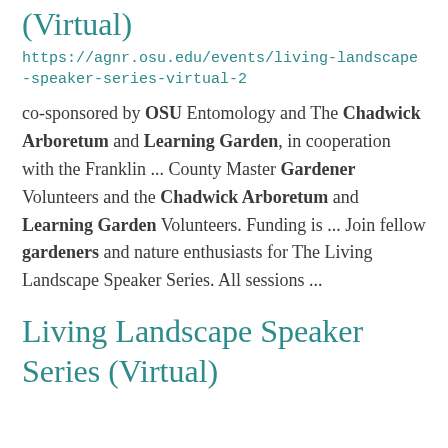(Virtual)
https://agnr.osu.edu/events/living-landscape-speaker-series-virtual-2
co-sponsored by OSU Entomology and The Chadwick Arboretum and Learning Garden, in cooperation with the Franklin ... County Master Gardener Volunteers and the Chadwick Arboretum and Learning Garden Volunteers. Funding is ... Join fellow gardeners and nature enthusiasts for The Living Landscape Speaker Series. All sessions ...
Living Landscape Speaker Series (Virtual)